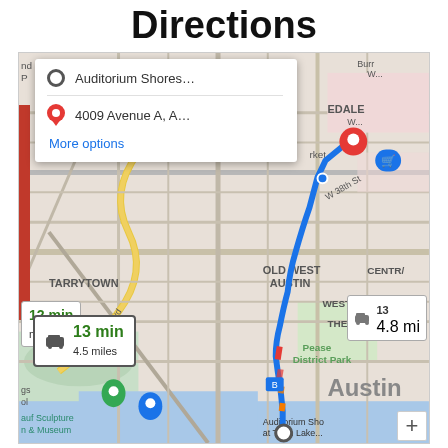Directions
[Figure (map): Google Maps directions screenshot showing route from Auditorium Shores at Town Lake to 4009 Avenue A, Austin TX. Route shown as blue line through Old West Austin, West Campus, Pease District Park neighborhoods. Main route: 13 min, 4.5 miles by car. Alternate route shown: 13 min, 4.8 miles. Directions popup shows origin: Auditorium Shores... and destination: 4009 Avenue A, A... with More options link.]